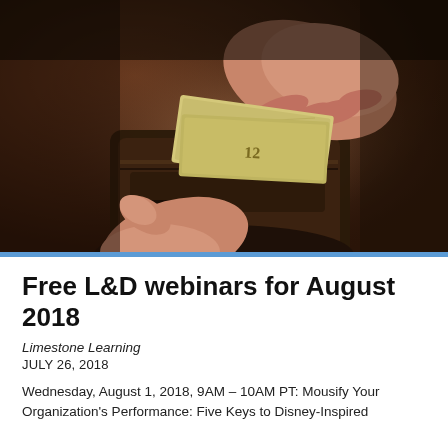[Figure (photo): Close-up photograph of two hands holding a dark leather wallet, with dollar bills being pulled out of the wallet. The background is dark brown/blurred.]
Free L&D webinars for August 2018
Limestone Learning
JULY 26, 2018
Wednesday, August 1, 2018, 9AM – 10AM PT: Mousify Your Organization's Performance: Five Keys to Disney-Inspired